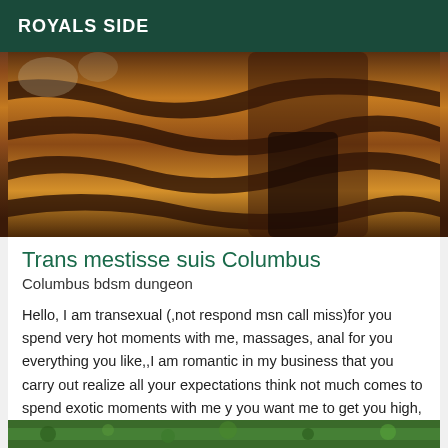ROYALS SIDE
[Figure (photo): Photo showing legs in black boots on a tiger-stripe patterned surface/bedding, with floral wallpaper in background]
Trans mestisse suis Columbus
Columbus bdsm dungeon
Hello, I am transexual (,not respond msn call miss)for you spend very hot moments with me, massages, anal for you everything you like,,I am romantic in my business that you carry out realize all your expectations think not much comes to spend exotic moments with me y you want me to get you high, don't forget to do an anal enema! you not going to regret: kisses
[Figure (photo): Partial photo visible at bottom of page showing green outdoor scene]